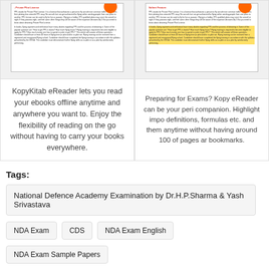[Figure (screenshot): Document preview card showing Private Pilot License article with orange circle icon and body text about PPL]
KopyKitab eReader lets you read your ebooks offline anytime and anywhere you want to. Enjoy the flexibility of reading on the go without having to carry your books everywhere.
[Figure (screenshot): Document preview card showing Private Pilot License with Salient Feature heading, yellow highlighted text sections and orange circle icon]
Preparing for Exams? Kopy eReader can be your peri companion. Highlight impo definitions, formulas etc. an them anytime without having around 100 of pages ar bookmarks.
Tags:
National Defence Academy Examination by Dr.H.P.Sharma & Yash Srivastava
NDA Exam
CDS
NDA Exam English
NDA Exam Sample Papers